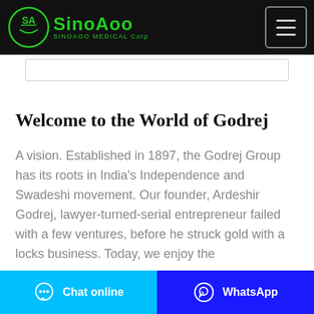SINOAOO MEDICAL Corp — Navigation header with logo and menu button
Welcome to the World of Godrej
A vision. Established in 1897, the Godrej Group has its roots in India's Independence and Swadeshi movement. Our founder, Ardeshir Godrej, lawyer-turned-serial entrepreneur failed with a few ventures, before he struck gold with a locks business. Today, we enjoy the
Chat online | WhatsApp